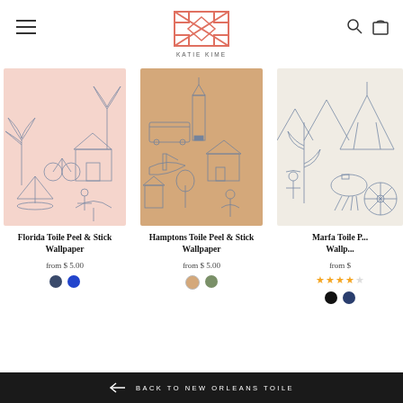[Figure (logo): Katie Kime brand logo - geometric diamond/square pattern in coral/salmon color with text KATIE KIME below]
Florida Toile Peel & Stick Wallpaper
from $ 5.00
Hamptons Toile Peel & Stick Wallpaper
from $ 5.00
Marfa Toile P... Wallp...
from $
★★★★☆
BACK TO NEW ORLEANS TOILE